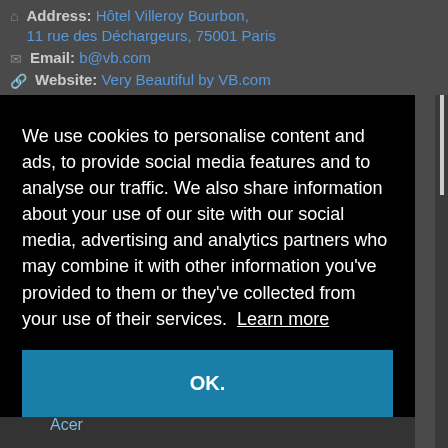Address: Hotel Villeroy Bourbon, 11 rue des Déchargeurs, 75001 Paris
Email: b@vb.com
Website: Very Beautiful by VB.com
We use cookies to personalise content and ads, to provide social media features and to analyse our traffic. We also share information about your use of our site with our social media, advertising and analytics partners who may combine it with other information you've provided to them or they've collected from your use of their services. Learn more
OK.
Acer